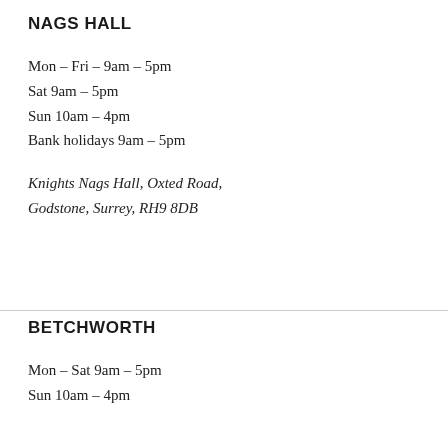NAGS HALL
Mon – Fri – 9am – 5pm
Sat 9am – 5pm
Sun 10am – 4pm
Bank holidays 9am – 5pm
Knights Nags Hall, Oxted Road,
Godstone, Surrey, RH9 8DB
BETCHWORTH
Mon – Sat 9am – 5pm
Sun 10am – 4pm